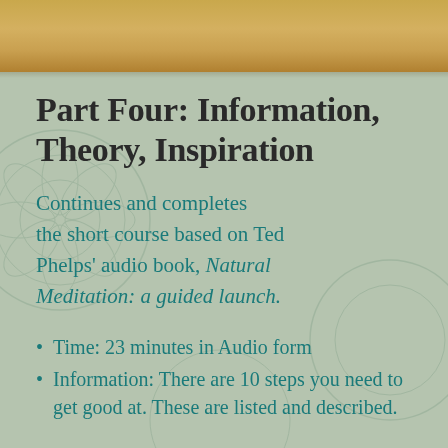[Figure (illustration): Gold/bronze decorative header bar at top of page with warm gradient tones]
Part Four: Information, Theory, Inspiration
Continues and completes the short course based on Ted Phelps' audio book, Natural Meditation: a guided launch.
Time: 23 minutes in Audio form
Information: There are 10 steps you need to get good at. These are listed and described.